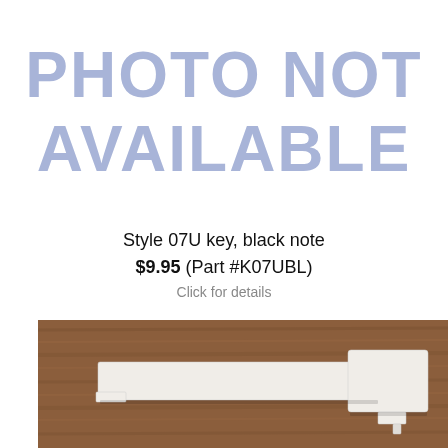[Figure (illustration): Large light blue placeholder text reading PHOTO NOT AVAILABLE on white background]
Style 07U key, black note
$9.95 (Part #K07UBL)
Click for details
[Figure (photo): Photo of a white piano key (Style 07U, black note key) lying on a wooden surface. The key is white plastic/ivory colored, elongated rectangular shape typical of a piano key.]